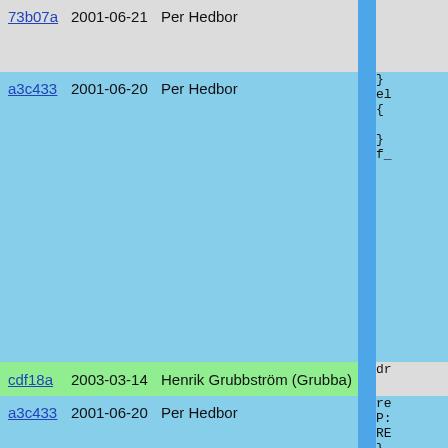| Hash | Date | Author | Code |
| --- | --- | --- | --- |
| 73b07a | 2001-06-21 | Per Hedbor |  |
| a3c433 | 2001-06-20 | Per Hedbor | }
el
{

}
f_ |
| cdf18a | 2003-03-14 | Henrik Grubbström (Grubba) | dr |
| a3c433 | 2001-06-20 | Per Hedbor | re
P:
RE
}

case
{
  po
  if

el

}
retu

case
RETE
} |